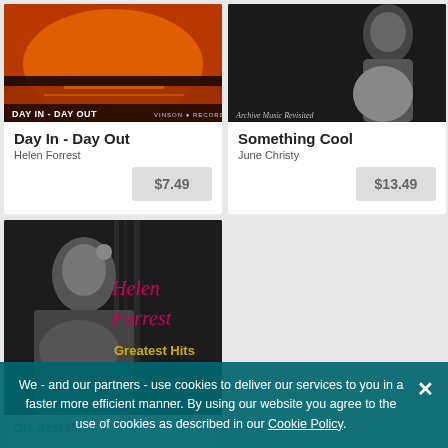[Figure (photo): Album cover for 'Day In - Day Out' by Helen Forrest — orange/red sunset over water with album title and Vinson Records label at bottom]
Day In - Day Out
Helen Forrest
$7.49
[Figure (photo): Album cover for 'Something Cool' by June Christy — black and white photo of a woman, 'Archive Music Revisited' text overlay]
Something Cool
June Christy
$13.49
[Figure (photo): Album cover for Helen Forrest Greatest Hits — black and white photo of Helen Forrest with pink/red scripted name and yellow 'Greatest Hits' text]
Greatest Hits
We - and our partners - use cookies to deliver our services to you in a faster more efficient manner. By using our website you agree to the use of cookies as described in our Cookie Policy.